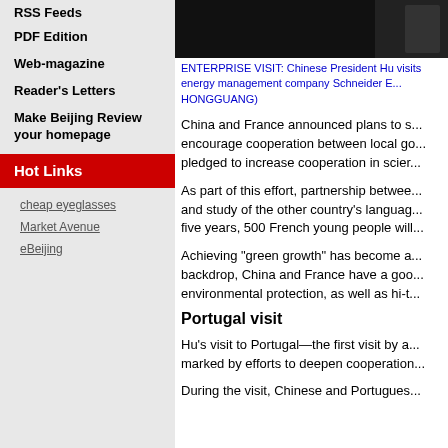RSS Feeds
PDF Edition
Web-magazine
Reader's Letters
Make Beijing Review your homepage
Hot Links
cheap eyeglasses
Market Avenue
eBeijing
[Figure (photo): Dark photo showing Chinese President Hu visiting Schneider Electric energy management company]
ENTERPRISE VISIT: Chinese President Hu visits energy management company Schneider E... HONGGUANG)
China and France announced plans to s... encourage cooperation between local go... pledged to increase cooperation in scier...
As part of this effort, partnership betwee... and study of the other country's languag... five years, 500 French young people will...
Achieving "green growth" has become a... backdrop, China and France have a goo... environmental protection, as well as hi-t...
Portugal visit
Hu's visit to Portugal—the first visit by a... marked by efforts to deepen cooperation...
During the visit, Chinese and Portugues...